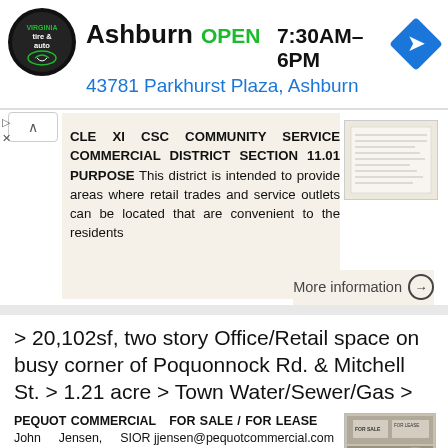[Figure (logo): Tire and auto service circular logo in black with handshake graphic]
Ashburn  OPEN  7:30AM–6PM
43781 Parkhurst Plaza, Ashburn
[Figure (infographic): Blue diamond navigation/directions icon]
CLE XI CSC COMMUNITY SERVICE COMMERCIAL DISTRICT SECTION 11.01 PURPOSE This district is intended to provide areas where retail trades and service outlets can be located that are convenient to the residents
[Figure (screenshot): Small thumbnail image of a document page with text listings]
More information →
> 20,102sf, two story Office/Retail space on busy corner of Poquonnock Rd. & Mitchell St. > 1.21 acre > Town Water/Sewer/Gas >
PEQUOT COMMERCIAL  FOR SALE / FOR LEASE     John    Jensen,    SIOR jjensen@pequotcommercial.com     349 Mitchell St., Groton (city)  >  20,102sf, two
[Figure (photo): Small thumbnail photo of a commercial property for sale / for lease sign]